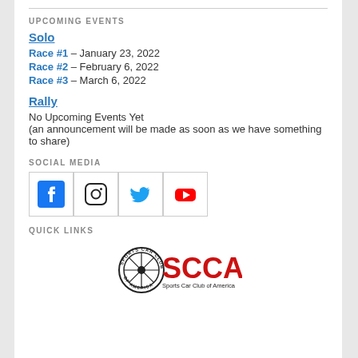UPCOMING EVENTS
Solo
Race #1 – January 23, 2022
Race #2 – February 6, 2022
Race #3 – March 6, 2022
Rally
No Upcoming Events Yet
(an announcement will be made as soon as we have something to share)
SOCIAL MEDIA
[Figure (infographic): Social media icons: Facebook, Instagram, Twitter, YouTube]
QUICK LINKS
[Figure (logo): SCCA Sports Car Club of America logo]